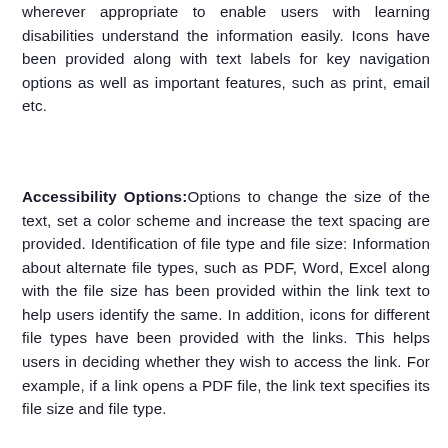wherever appropriate to enable users with learning disabilities understand the information easily. Icons have been provided along with text labels for key navigation options as well as important features, such as print, email etc.
Accessibility Options: Options to change the size of the text, set a color scheme and increase the text spacing are provided. Identification of file type and file size: Information about alternate file types, such as PDF, Word, Excel along with the file size has been provided within the link text to help users identify the same. In addition, icons for different file types have been provided with the links. This helps users in deciding whether they wish to access the link. For example, if a link opens a PDF file, the link text specifies its file size and file type.